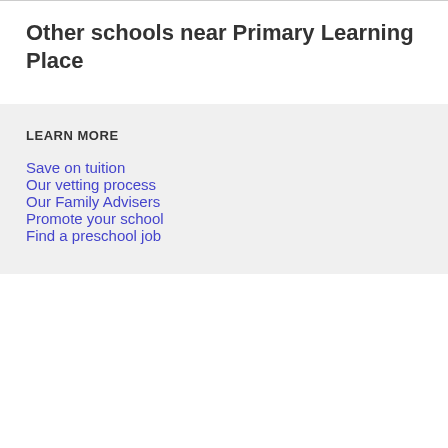Other schools near Primary Learning Place
LEARN MORE
Save on tuition
Our vetting process
Our Family Advisers
Promote your school
Find a preschool job